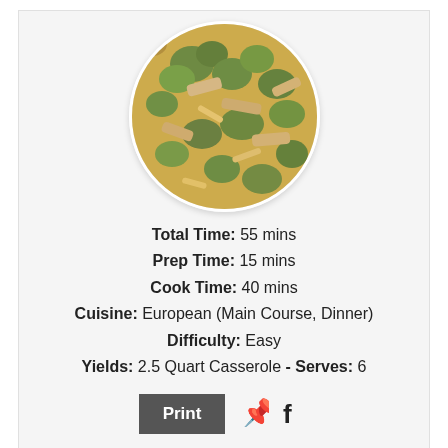[Figure (photo): Circular photo of a chicken broccoli casserole with pasta, broccoli florets and cheese]
Total Time: 55 mins
Prep Time: 15 mins
Cook Time: 40 mins
Cuisine: European (Main Course, Dinner)
Difficulty: Easy
Yields: 2.5 Quart Casserole - Serves: 6
[Figure (other): Print button and social media icons for Pinterest and Facebook]
Ingredients